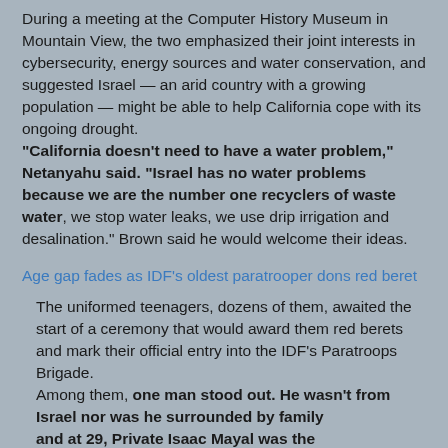During a meeting at the Computer History Museum in Mountain View, the two emphasized their joint interests in cybersecurity, energy sources and water conservation, and suggested Israel — an arid country with a growing population — might be able to help California cope with its ongoing drought. "California doesn't need to have a water problem," Netanyahu said. "Israel has no water problems because we are the number one recyclers of waste water, we stop water leaks, we use drip irrigation and desalination." Brown said he would welcome their ideas.
Age gap fades as IDF's oldest paratrooper dons red beret
The uniformed teenagers, dozens of them, awaited the start of a ceremony that would award them red berets and mark their official entry into the IDF's Paratroops Brigade. Among them, one man stood out. He wasn't from Israel nor was he surrounded by family and at 29, Private Isaac Mayal was the